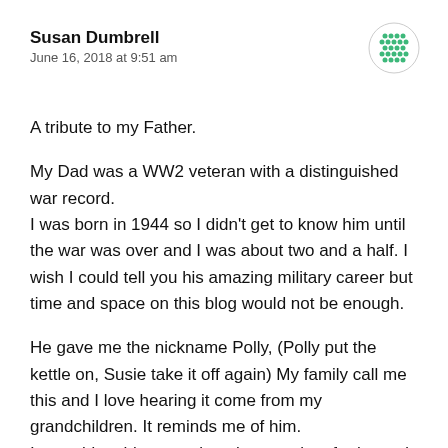Susan Dumbrell
June 16, 2018 at 9:51 am
A tribute to my Father.
My Dad was a WW2 veteran with a distinguished war record.
I was born in 1944 so I didn't get to know him until the war was over and I was about two and a half. I wish I could tell you his amazing military career but time and space on this blog would not be enough.
He gave me the nickname Polly, (Polly put the kettle on, Susie take it off again) My family call me this and I love hearing it come from my grandchildren. It reminds me of him.
I am told on his return it took some time for he and I to